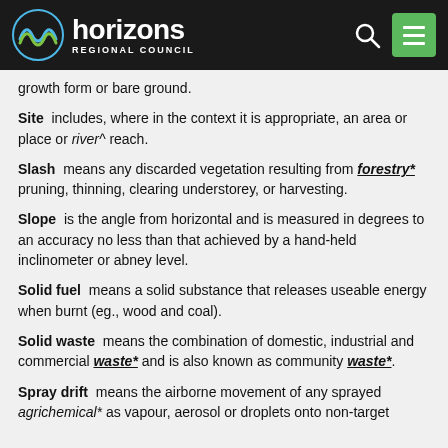horizons REGIONAL COUNCIL
growth form or bare ground.
Site  includes, where in the context it is appropriate, an area or place or river^ reach.
Slash  means any discarded vegetation resulting from forestry* pruning, thinning, clearing understorey, or harvesting.
Slope  is the angle from horizontal and is measured in degrees to an accuracy no less than that achieved by a hand-held inclinometer or abney level.
Solid fuel  means a solid substance that releases useable energy when burnt (eg., wood and coal).
Solid waste  means the combination of domestic, industrial and commercial waste* and is also known as community waste*.
Spray drift  means the airborne movement of any sprayed agrichemical* as vapour, aerosol or droplets onto non-target